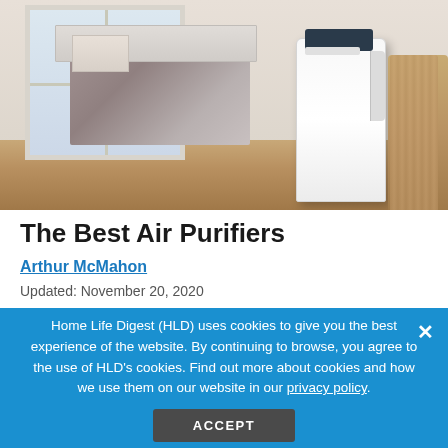[Figure (photo): A bedroom with a white air purifier on a hardwood floor, a bed with grey bedding, and a window in the background. A wicker basket is visible on the right side.]
The Best Air Purifiers
Arthur McMahon
Updated: November 20, 2020
Home Life Digest (HLD) uses cookies to give you the best experience of the website. By continuing to browse, you agree to the use of HLD's cookies. Find out more about cookies and how we use them on our website in our privacy policy.
ACCEPT